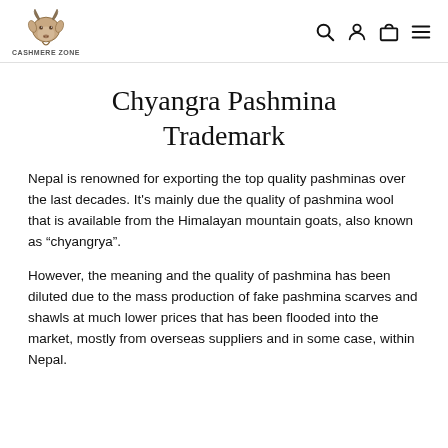CASHMERE ZONE
Chyangra Pashmina Trademark
Nepal is renowned for exporting the top quality pashminas over the last decades. It's mainly due the quality of pashmina wool that is available from the Himalayan mountain goats, also known as “chyangrya”.
However, the meaning and the quality of pashmina has been diluted due to the mass production of fake pashmina scarves and shawls at much lower prices that has been flooded into the market, mostly from overseas suppliers and in some case, within Nepal.